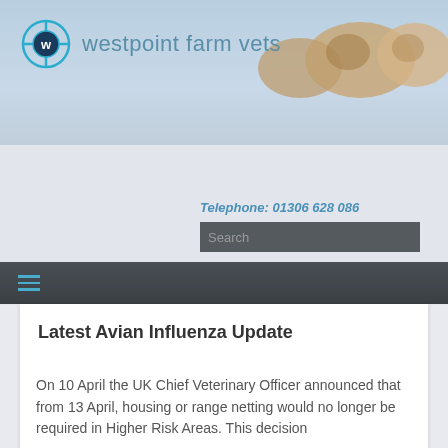[Figure (logo): Westpoint Farm Vets logo with crosshair/target icon and brand name in teal/blue]
[Figure (photo): Photo of cattle heads visible in upper right of header banner against blue sky]
[Figure (logo): Twitter bird icon in dark blue circle]
Telephone: 01306 628 086
Search
Latest Avian Influenza Update
On 10 April the UK Chief Veterinary Officer announced that from 13 April, housing or range netting would no longer be required in Higher Risk Areas. This decision